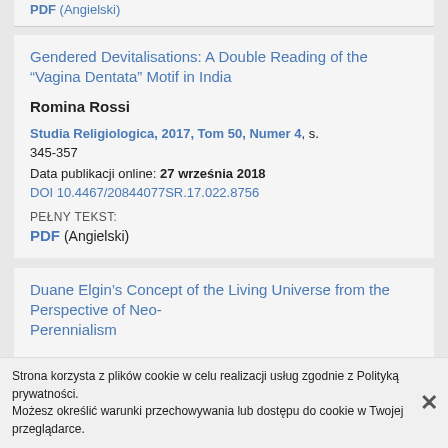PDF (Angielski)
Gendered Devitalisations: A Double Reading of the “Vagina Dentata” Motif in India
Romina Rossi
Studia Religiologica, 2017, Tom 50, Numer 4, s. 345-357
Data publikacji online: 27 września 2018
DOI 10.4467/20844077SR.17.022.8756
PEŁNY TEKST:
PDF (Angielski)
Duane Elgin’s Concept of the Living Universe from the Perspective of Neo-Perennialism
Strona korzysta z plików cookie w celu realizacji usług zgodnie z Polityką prywatności.
Możesz określić warunki przechowywania lub dostępu do cookie w Twojej przeglądarce.